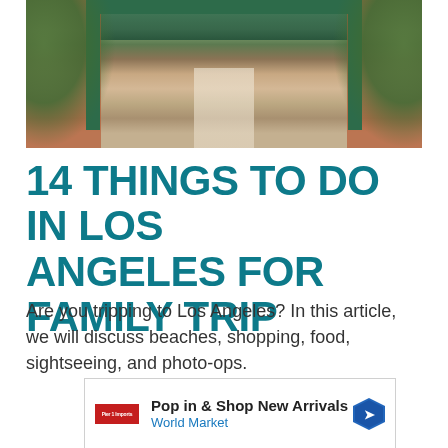[Figure (photo): Outdoor market or bookstore alley in Los Angeles with brick walls, green arch/awning, ivy-covered walls, and a pathway through shops]
14 THINGS TO DO IN LOS ANGELES FOR FAMILY TRIP
Are you tripping to Los Angeles? In this article, we will discuss beaches, shopping, food, sightseeing, and photo-ops.
[Figure (other): Advertisement: Pop in & Shop New Arrivals - World Market]